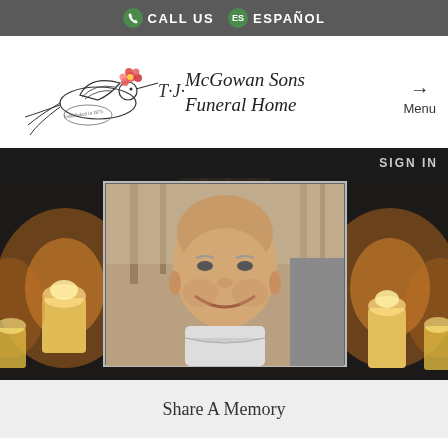CALL US   ES ESPAÑOL
[Figure (logo): T.J. McGowan Sons Funeral Home logo with hummingbird and flower, established 1875]
Menu
SIGN IN
[Figure (photo): Portrait photo of an elderly bald man smiling outdoors, with blurred candles in the background]
Share A Memory